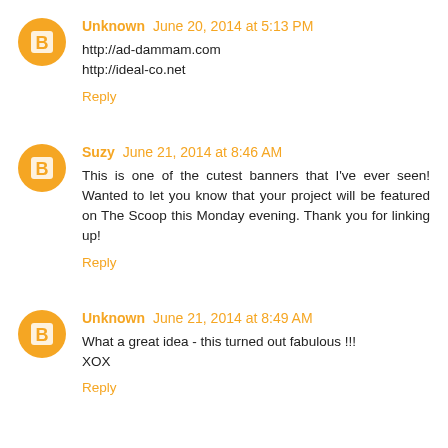Unknown June 20, 2014 at 5:13 PM
http://ad-dammam.com
http://ideal-co.net
Reply
Suzy June 21, 2014 at 8:46 AM
This is one of the cutest banners that I've ever seen! Wanted to let you know that your project will be featured on The Scoop this Monday evening. Thank you for linking up!
Reply
Unknown June 21, 2014 at 8:49 AM
What a great idea - this turned out fabulous !!!
XOX
Reply